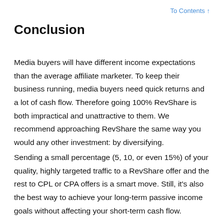To Contents ↑
Conclusion
Media buyers will have different income expectations than the average affiliate marketer. To keep their business running, media buyers need quick returns and a lot of cash flow. Therefore going 100% RevShare is both impractical and unattractive to them. We recommend approaching RevShare the same way you would any other investment: by diversifying.
Sending a small percentage (5, 10, or even 15%) of your quality, highly targeted traffic to a RevShare offer and the rest to CPL or CPA offers is a smart move. Still, it's also the best way to achieve your long-term passive income goals without affecting your short-term cash flow.